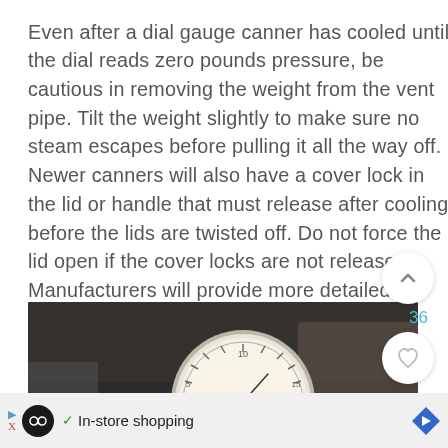Even after a dial gauge canner has cooled until the dial reads zero pounds pressure, be cautious in removing the weight from the vent pipe. Tilt the weight slightly to make sure no steam escapes before pulling it all the way off. Newer canners will also have a cover lock in the lid or handle that must release after cooling before the lids are twisted off. Do not force the lid open if the cover locks are not released. Manufacturers will provide more detailed instructions for particular models.
[Figure (photo): Close-up photograph of a dial gauge pressure canner lid showing the circular gauge face with needle, set on a metallic canner surface.]
[Figure (screenshot): Mobile UI overlay showing scroll-up button, like count (36), heart/like button, search button, and an advertisement bar with an infinity-logo ad showing 'In-store shopping' with a navigation arrow.]